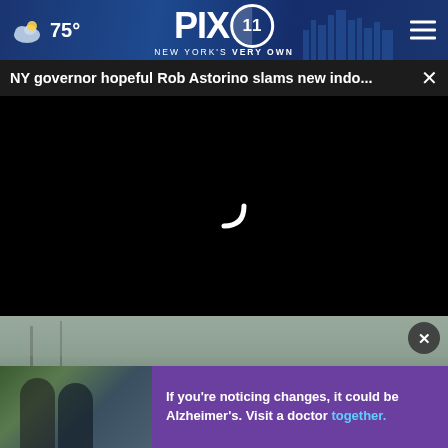PIX11 NEW YORK'S VERY OWN — 75°
NY governor hopeful Rob Astorino slams new indo...
[Figure (screenshot): Black video player area with loading spinner (white curved arc)]
[Figure (photo): Partial outdoor scene visible behind advertisement overlay with close X button]
[Figure (infographic): Advertisement banner: photo of two men outdoors on left, purple background on right with text: If you're noticing changes, it could be Alzheimer's. Visit a doctor together.]